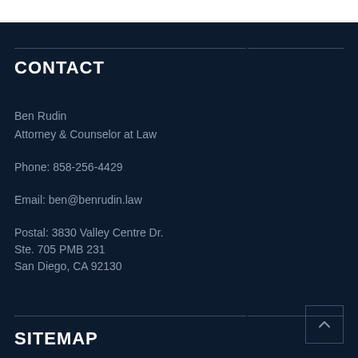CONTACT
Ben Rudin
Attorney & Counselor at Law
Phone: 858-256-4429
Email: ben@benrudin.law
Postal: 3830 Valley Centre Dr.
Ste. 705 PMB 231
San Diego, CA 92130
SITEMAP